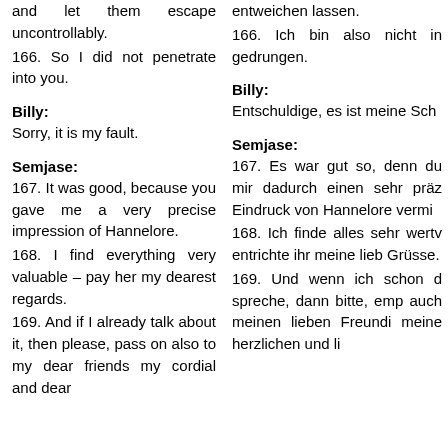and let them escape uncontrollably.
166. So I did not penetrate into you.
Billy:
Sorry, it is my fault.
Semjase:
167. It was good, because you gave me a very precise impression of Hannelore.
168. I find everything very valuable – pay her my dearest regards.
169. And if I already talk about it, then please, pass on also to my dear friends my cordial and dear
entweichen lassen.
166. Ich bin also nicht in gedrungen.
Billy:
Entschuldige, es ist meine Sch
Semjase:
167. Es war gut so, denn du mir dadurch einen sehr präz Eindruck von Hannelore vermi
168. Ich finde alles sehr wertv entrichte ihr meine lieb Grüsse.
169. Und wenn ich schon d spreche, dann bitte, emp auch meinen lieben Freundi meine herzlichen und li